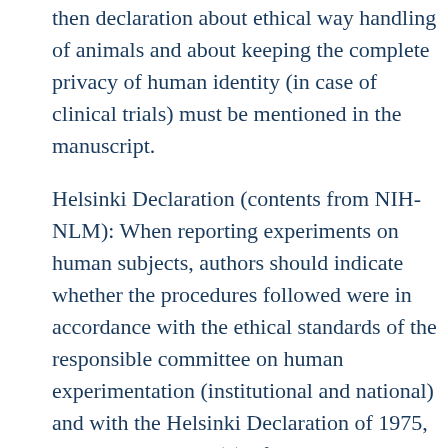then declaration about ethical way handling of animals and about keeping the complete privacy of human identity (in case of clinical trials) must be mentioned in the manuscript.
Helsinki Declaration (contents from NIH-NLM): When reporting experiments on human subjects, authors should indicate whether the procedures followed were in accordance with the ethical standards of the responsible committee on human experimentation (institutional and national) and with the Helsinki Declaration of 1975, as revised in 2000 (5). If doubt exists whether the research was conducted in accordance with the Helsinki Declaration, the authors must explain the rationale for their approach, and demonstrate that the institutional review body